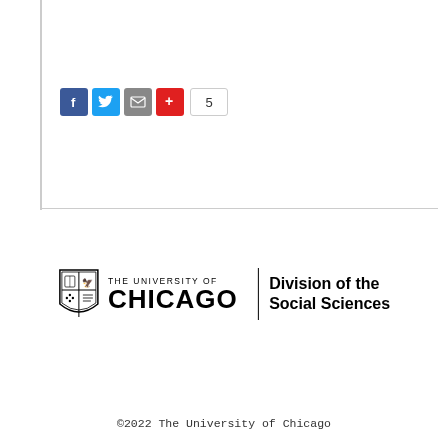[Figure (screenshot): Social media sharing buttons: Facebook (blue), Twitter (blue), email (gray), plus/share (red), and a count badge showing 5]
[Figure (logo): The University of Chicago shield logo with wordmark and 'Division of the Social Sciences' text]
©2022 The University of Chicago